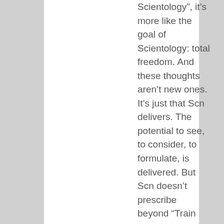Scientology”, it’s more like the goal of Scientology: total freedom. And these thoughts aren’t new ones. It’s just that Scn delivers. The potential to see, to consider, to formulate, is delivered. But Scn doesn’t prescribe beyond “Train and audit!” An excellent proxy, but as a science, and to achieve that goal